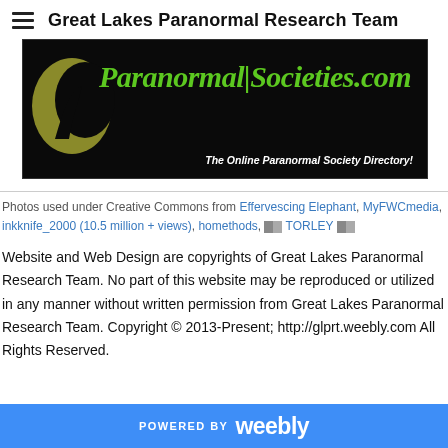Great Lakes Paranormal Research Team
[Figure (illustration): ParanormalSocieties.com banner — black background with green stylized text reading 'ParanormalSocieties.com' and a moon/witch silhouette on the left. Tagline reads 'The Online Paranormal Society Directory!']
Photos used under Creative Commons from Effervescing Elephant, MyFWCmedia, inkknife_2000 (10.5 million + views), homethods, [flag] TORLEY [flag]
Website and Web Design are copyrights of Great Lakes Paranormal Research Team. No part of this website may be reproduced or utilized in any manner without written permission from Great Lakes Paranormal Research Team. Copyright © 2013-Present; http://glprt.weebly.com All Rights Reserved.
POWERED BY weebly